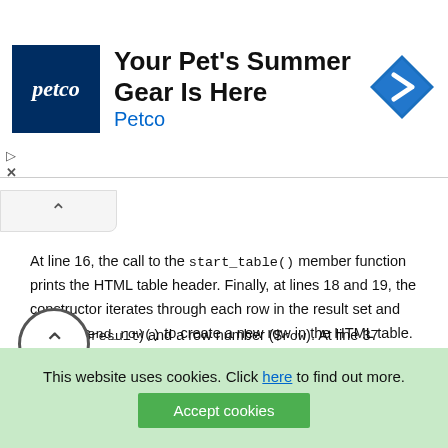[Figure (screenshot): Petco advertisement banner with logo, text 'Your Pet's Summer Gear Is Here', brand name 'Petco', and a blue diamond navigation icon]
[Figure (other): Collapsed content tab with upward chevron arrow]
At line 16, the call to the start_table() member function prints the HTML table header. Finally, at lines 18 and 19, the constructor iterates through each row in the result set and calls append_row() to create a new row in the HTML table. We'll look at append_row() shortly.
The start_table() and finish_table() member functions create the HTML table header and table footer, respectively. finish_table() also frees up the resources consumed by the result set by calling pg_free_result().
[Figure (other): Back-to-top circular button with upward chevron]
Th... ap... handle ($result) and a row number ($row). At line 37...
This website uses cookies. Click here to find out more.
Accept cookies